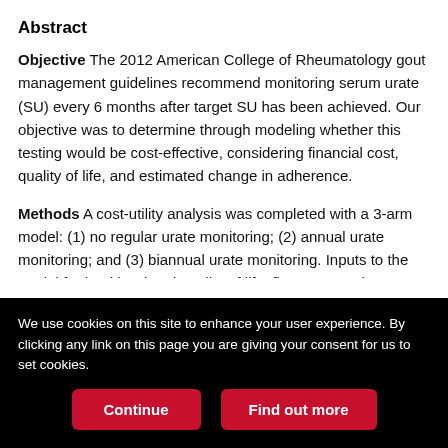Abstract
Objective The 2012 American College of Rheumatology gout management guidelines recommend monitoring serum urate (SU) every 6 months after target SU has been achieved. Our objective was to determine through modeling whether this testing would be cost-effective, considering financial cost, quality of life, and estimated change in adherence.
Methods A cost-utility analysis was completed with a 3-arm model: (1) no regular urate monitoring; (2) annual urate monitoring; and (3) biannual urate monitoring. Inputs to the model for health-related quality of life, flare rate, and treatment location were drawn from the medical literature and modeled over a lifetime horizon.
We use cookies on this site to enhance your user experience. By clicking any link on this page you are giving your consent for us to set cookies.